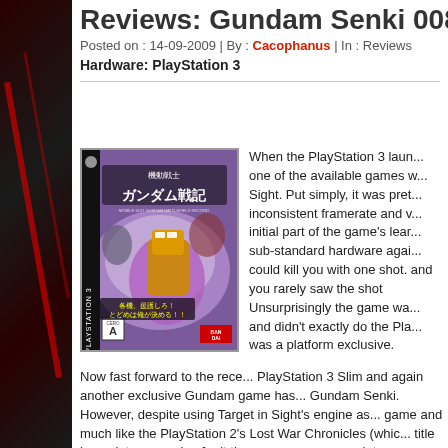Reviews: Gundam Senki 0081 (...
Posted on : 14-09-2009 | By : Cacophanus | In : Reviews
Hardware: PlayStation 3
[Figure (photo): PlayStation 3 game box art for Gundam Senki (Mobile Suit Gundam Battlefield Record), showing giant mecha robot on purple/white background with Japanese text]
When the PlayStation 3 launched one of the available games was... Sight. Put simply, it was pretty inconsistent framerate and w... initial part of the game's learn... sub-standard hardware again... could kill you with one shot. and you rarely saw the shot Unsurprisingly the game wa... and didn't exactly do the Pla... was a platform exclusive.
Now fast forward to the recently released PlayStation 3 Slim and again another exclusive Gundam game has arrived: Gundam Senki. However, despite using Target in Sight's engine as the base game and much like the PlayStation 2's Lost War Chronicles (whic... title has a lot more going for it than many may appreciate or initially...